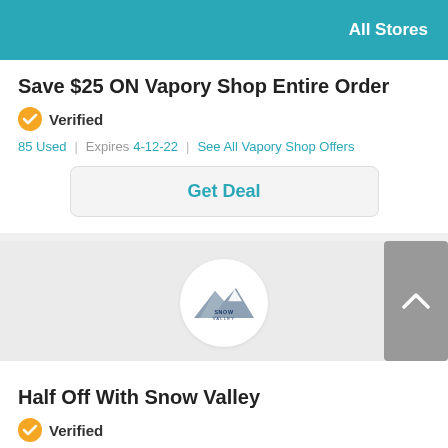All Stores
Save $25 ON Vapory Shop Entire Order
Verified
85 Used | Expires 4-12-22 | See All Vapory Shop Offers
Get Deal
[Figure (logo): Snow Valley logo — mountain graphic with 'Snow Valley' text inside a white circle on a grey background]
Half Off With Snow Valley
Verified
33 Used | Expires 4-12-22 | See All Snow Valley Offers
Get Deal